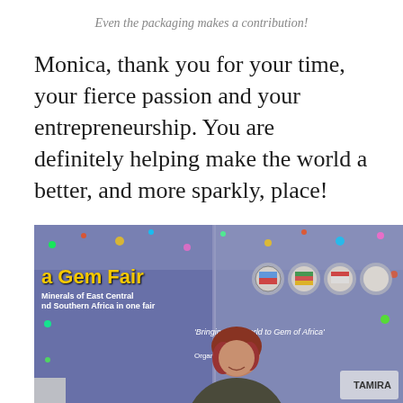Even the packaging makes a contribution!
Monica, thank you for your time, your fierce passion and your entrepreneurship. You are definitely helping make the world a better, and more sparkly, place!
[Figure (photo): Photo of a woman smiling in front of a banner for a Gem Fair ('a Gem Fair — Minerals of East Central and Southern Africa in one fair'), with text 'Bringing the World to Gem of Africa' and 'Organized by:' visible on the banner, along with decorative colored spots and logos.]